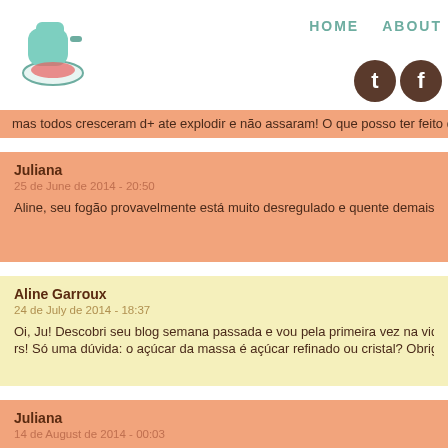HOME  ABOUT
mas todos cresceram d+ ate explodir e não assaram! O que posso ter feito d
Juliana
25 de June de 2014 - 20:50
Aline, seu fogão provavelmente está muito desregulado e quente demais! Be
Aline Garroux
24 de July de 2014 - 18:37
Oi, Ju! Descobri seu blog semana passada e vou pela primeira vez na vida ter
rs! Só uma dúvida: o açúcar da massa é açúcar refinado ou cristal? Obrigada!
Juliana
14 de August de 2014 - 00:03
Aline, eu detalho todos os ingredientes do blog lá no FAQ! Dê uma lida e boa